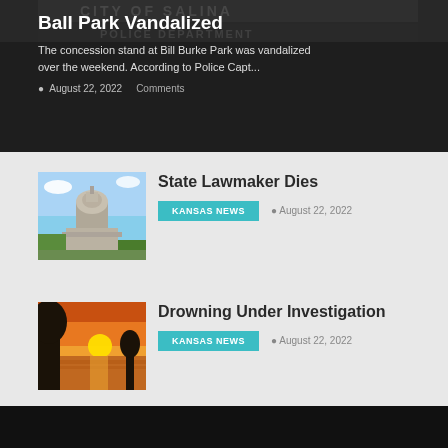[Figure (photo): Dark background showing City of Salina Police Department sign with overlay text about Ball Park vandalism]
Ball Park Vandalized
The concession stand at Bill Burke Park was vandalized over the weekend. According to Police Capt...
August 22, 2022   Comments
[Figure (photo): Kansas State Capitol building with blue sky]
State Lawmaker Dies
KANSAS NEWS   August 22, 2022
[Figure (photo): Sunset over water with silhouetted trees]
Drowning Under Investigation
KANSAS NEWS   August 22, 2022